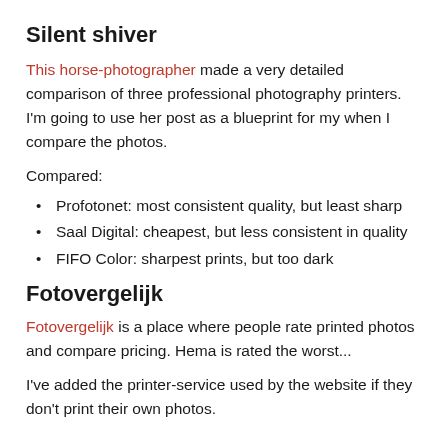Silent shiver
This horse-photographer made a very detailed comparison of three professional photography printers. I'm going to use her post as a blueprint for my when I compare the photos.
Compared:
Profotonet: most consistent quality, but least sharp
Saal Digital: cheapest, but less consistent in quality
FIFO Color: sharpest prints, but too dark
Fotovergelijk
Fotovergelijk is a place where people rate printed photos and compare pricing. Hema is rated the worst...
I've added the printer-service used by the website if they don't print their own photos.